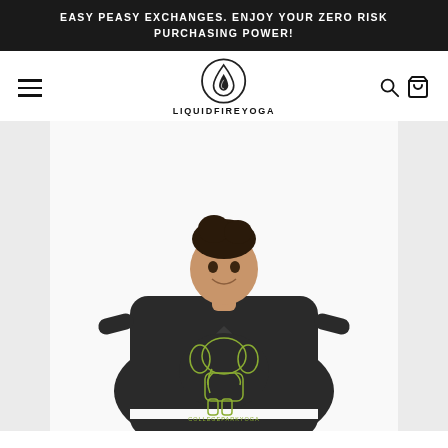EASY PEASY EXCHANGES. ENJOY YOUR ZERO RISK PURCHASING POWER!
[Figure (logo): LiquidFireYoga logo: a water drop with flame inside a circle, with LIQUIDFIREYOGA text below]
[Figure (photo): A smiling woman wearing a dark cropped hoodie with a green elephant graphic and text COLLEGEPARKYOGA on it, photographed against a white background]